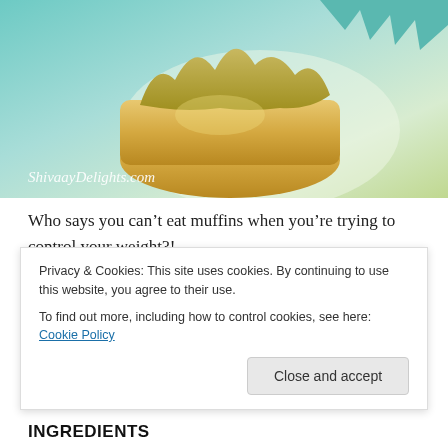[Figure (photo): Photo of a muffin with teal/green background and 'ShivaayDelights.com' watermark text]
Who says you can't eat muffins when you're trying to control your weight?!
Here I have devised a low fat recipe with hardly any sugar and have relied on the banana for sweetness and to add moisture to this moreish muffin
Privacy & Cookies: This site uses cookies. By continuing to use this website, you agree to their use.
To find out more, including how to control cookies, see here: Cookie Policy
INGREDIENTS